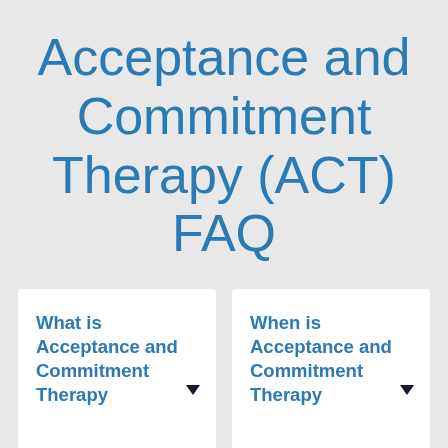Acceptance and Commitment Therapy (ACT) FAQ
What is Acceptance and Commitment Therapy
When is Acceptance and Commitment Therapy